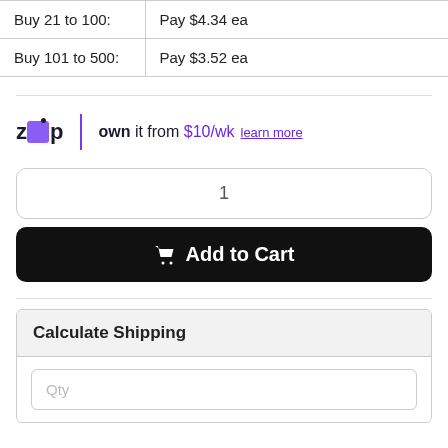| Buy 21 to 100: | Pay $4.34 ea |
| Buy 101 to 500: | Pay $3.52 ea |
[Figure (logo): Zip logo with tagline: own it from $10/wk learn more]
1
Add to Cart
Calculate Shipping
Qty